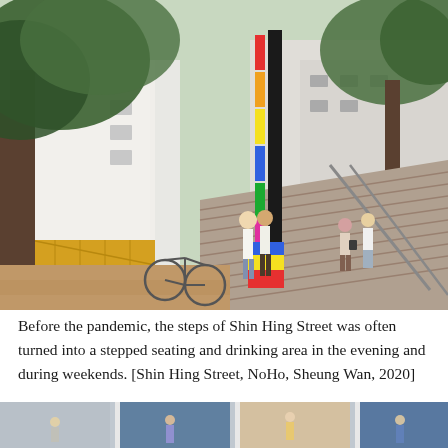[Figure (photo): Street scene showing children playing near a colorful vertical sculpture/pole on Shin Hing Street steps in NoHo, Sheung Wan, Hong Kong. People are walking on wide outdoor stairs with metal railings. Trees frame the scene, and shopfronts with awnings are visible on the left. The area has brick paving. Photographed in 2020.]
Before the pandemic, the steps of Shin Hing Street was often turned into a stepped seating and drinking area in the evening and during weekends. [Shin Hing Street, NoHo, Sheung Wan, 2020]
[Figure (photo): Partial view of another street scene photograph, cropped at the bottom of the page.]